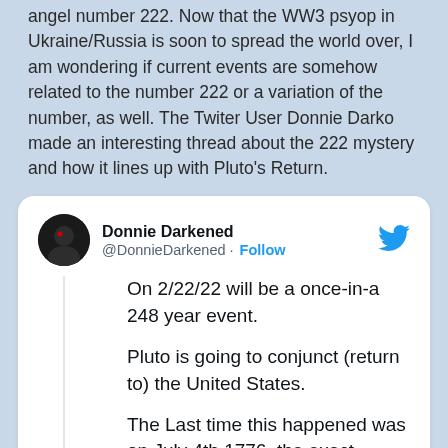angel number 222. Now that the WW3 psyop in Ukraine/Russia is soon to spread the world over, I am wondering if current events are somehow related to the number 222 or a variation of the number, as well. The Twiter User Donnie Darko made an interesting thread about the 222 mystery and how it lines up with Pluto's Return.
[Figure (screenshot): Embedded tweet from @DonnieDarkened saying: On 2/22/22 will be a once-in-a 248 year event. Pluto is going to conjunct (return to) the United States. The Last time this happened was on July 4th 1776, the exact founding day of America.]